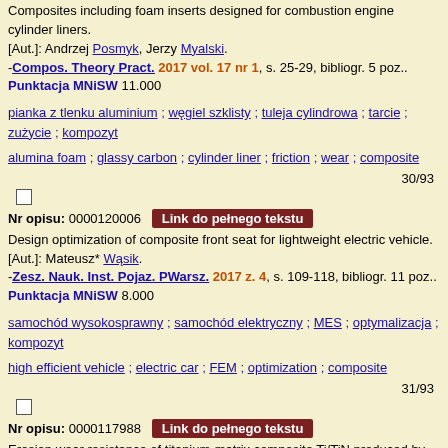Composites including foam inserts designed for combustion engine cylinder liners.
[Aut.]: Andrzej Posmyk, Jerzy Myalski.
-Compos. Theory Pract. 2017 vol. 17 nr 1, s. 25-29, bibliogr. 5 poz..
Punktacja MNiSW 11.000
pianka z tlenku aluminium ; węgiel szklisty ; tuleja cylindrowa ; tarcie ; zużycie ; kompozyt
alumina foam ; glassy carbon ; cylinder liner ; friction ; wear ; composite
30/93
Nr opisu: 0000120006  Link do pełnego tekstu
Design optimization of composite front seat for lightweight electric vehicle.
[Aut.]: Mateusz* Wąsik.
-Zesz. Nauk. Inst. Pojaz. PWarsz. 2017 z. 4, s. 109-118, bibliogr. 11 poz..
Punktacja MNiSW 8.000
samochód wysokosprawny ; samochód elektryczny ; MES ; optymalizacja ; kompozyt
high efficient vehicle ; electric car ; FEM ; optimization ; composite
31/93
Nr opisu: 0000117988  Link do pełnego tekstu
Erosion wear resistance of titanium-matrix composite Ti/TiN produced by diode-laser gas nitriding.
[Aut.]: Aleksander Lisiecki, A. Kurc-Lisiecka.
-Mater. Tehnol. 2017 vol. 51 iss. 1, s. 29-34, bibliogr. 25 poz.. Impact